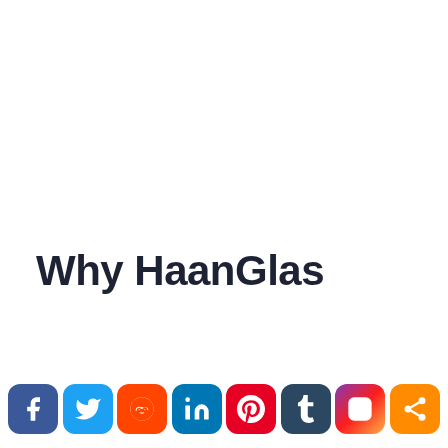Why HaanGlas
[Figure (infographic): Row of 8 social media sharing icons: Facebook (blue), Twitter (light blue), Reddit (orange-red), LinkedIn (teal-blue), Pinterest (red), Tumblr (dark blue-gray), Instagram (gradient purple-red-orange), Share (orange)]